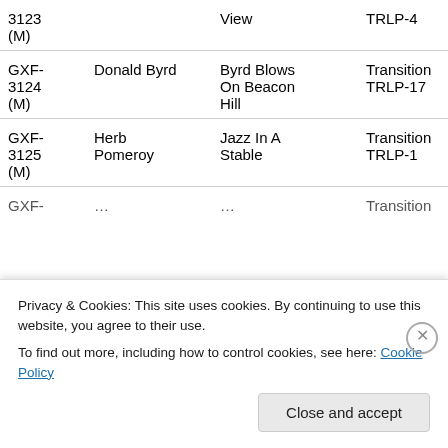| ID | Artist | Title | Label | Notes |
| --- | --- | --- | --- | --- |
| 3123 (M) |  | View | TRLP-4 | Kin… Issu… |
| GXF-3124 (M) | Donald Byrd | Byrd Blows On Beacon Hill | Transition TRLP-17 | Mis… Kin… Issu… |
| GXF-3125 (M) | Herb Pomeroy | Jazz In A Stable | Transition TRLP-1 | Mis… Kin… Issu… |
| GXF-… | … | … | Transition… | Mis… |
Privacy & Cookies: This site uses cookies. By continuing to use this website, you agree to their use.
To find out more, including how to control cookies, see here: Cookie Policy